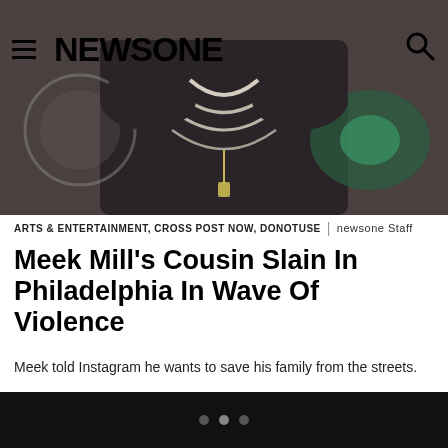NEWSONE
[Figure (photo): Person wearing a dark shirt and pearl/chain necklaces, photographed from chest level, with colorful stage lighting in the background]
ARTS & ENTERTAINMENT, CROSS POST NOW, DONOTUSE | newsone Staff
Meek Mill's Cousin Slain In Philadelphia In Wave Of Violence
Meek told Instagram he wants to save his family from the streets.
[Figure (photo): Close-up of blue and white police tape reading 'POLICE', with blurred dark background and a figure in yellow high-visibility clothing]